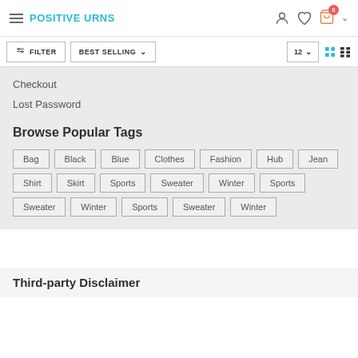POSITIVE URNS
Checkout
Lost Password
Browse Popular Tags
Bag
Black
Blue
Clothes
Fashion
Hub
Jean
Shirt
Skirt
Sports
Sweater
Winter
Sports
Sweater
Winter
Sports
Sweater
Winter
Third-party Disclaimer